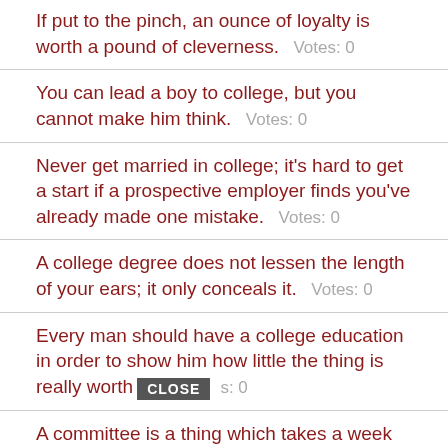If put to the pinch, an ounce of loyalty is worth a pound of cleverness.   Votes: 0
You can lead a boy to college, but you cannot make him think.   Votes: 0
Never get married in college; it's hard to get a start if a prospective employer finds you've already made one mistake.   Votes: 0
A college degree does not lessen the length of your ears; it only conceals it.   Votes: 0
Every man should have a college education in order to show him how little the thing is really worth.   Votes: 0
A committee is a thing which takes a week to do what one good man can do in an hour.   Votes: 0
The brain is a commodity used to fertilize ideas.